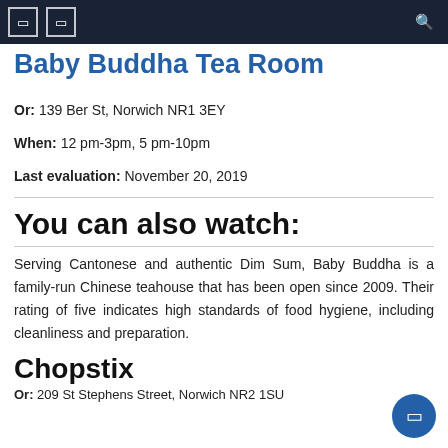[Navigation bar with menu icons and search]
Baby Buddha Tea Room (partial/cut off)
Or: 139 Ber St, Norwich NR1 3EY
When: 12 pm-3pm, 5 pm-10pm
Last evaluation: November 20, 2019
You can also watch:
Serving Cantonese and authentic Dim Sum, Baby Buddha is a family-run Chinese teahouse that has been open since 2009. Their rating of five indicates high standards of food hygiene, including cleanliness and preparation.
Chopstix
Or: 209 St Stephens Street, Norwich NR2 1SU